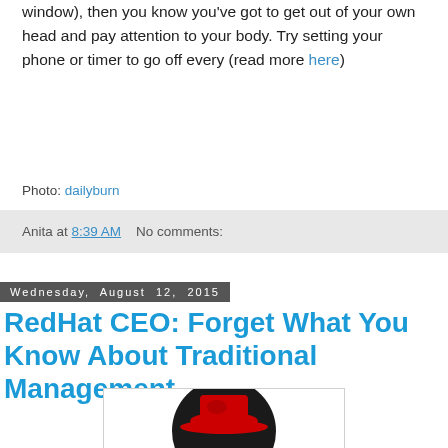window), then you know you've got to get out of your own head and pay attention to your body. Try setting your phone or timer to go off every (read more here)
Photo: dailyburn
Anita at 8:39 AM   No comments:
Wednesday, August 12, 2015
RedHat CEO: Forget What You Know About Traditional Management
[Figure (logo): Red Hat logo — black circle with red fedora hat graphic]